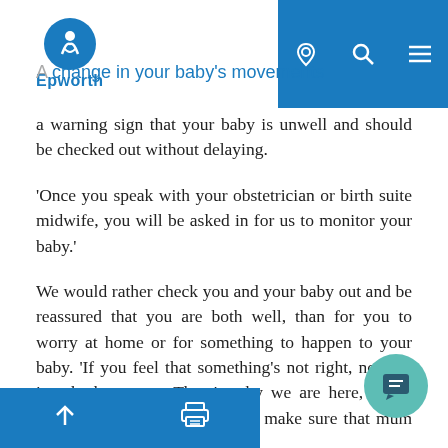Epworth — navigation bar with logo, location, search, and menu icons
A change in your baby's movements is a warning sign that your baby is unwell and should be checked out without delaying.
'Once you speak with your obstetrician or birth suite midwife, you will be asked in for us to monitor your baby.'
We would rather check you and your baby out and be reassured that you are both well, than for you to worry at home or for something to happen to your baby. 'If you feel that something's not right, nothing is a bother to us. That is why we are here, just a phone call away. We're here to make sure that mum and baby are… g is an inconvenience and we never… er is overreacting.'
Bottom toolbar with up arrow and print icon; chat bubble icon